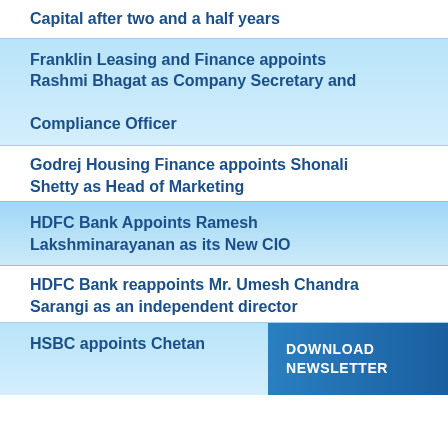Capital after two and a half years
Franklin Leasing and Finance appoints Rashmi Bhagat as Company Secretary and Compliance Officer
Godrej Housing Finance appoints Shonali Shetty as Head of Marketing
HDFC Bank Appoints Ramesh Lakshminarayanan as its New CIO
HDFC Bank reappoints Mr. Umesh Chandra Sarangi as an independent director
HSBC appoints Chetan
DOWNLOAD NEWSLETTER